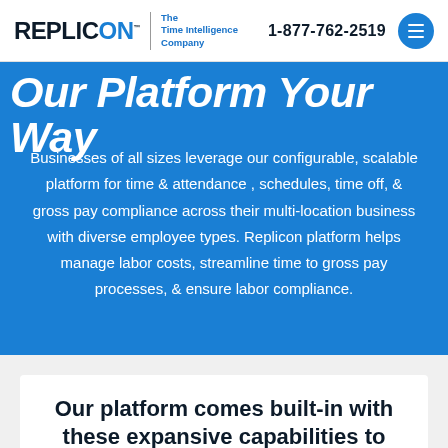REPLICON™ | The Time Intelligence Company | 1-877-762-2519
Our Platform Your Way
Businesses of all sizes leverage our configurable, scalable platform for time & attendance , schedules, time off, & gross pay compliance across their multi-location business with diverse employee types. Replicon platform helps manage labor costs, streamline time to gross pay processes, & ensure labor compliance.
Our platform comes built-in with these expansive capabilities to